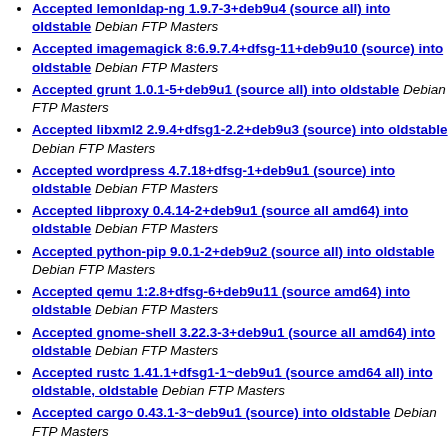Accepted lemonldap-ng 1.9.7-3+deb9u4 (source all) into oldstable Debian FTP Masters
Accepted imagemagick 8:6.9.7.4+dfsg-11+deb9u10 (source) into oldstable Debian FTP Masters
Accepted grunt 1.0.1-5+deb9u1 (source all) into oldstable Debian FTP Masters
Accepted libxml2 2.9.4+dfsg1-2.2+deb9u3 (source) into oldstable Debian FTP Masters
Accepted wordpress 4.7.18+dfsg-1+deb9u1 (source) into oldstable Debian FTP Masters
Accepted libproxy 0.4.14-2+deb9u1 (source all amd64) into oldstable Debian FTP Masters
Accepted python-pip 9.0.1-2+deb9u2 (source all) into oldstable Debian FTP Masters
Accepted qemu 1:2.8+dfsg-6+deb9u11 (source amd64) into oldstable Debian FTP Masters
Accepted gnome-shell 3.22.3-3+deb9u1 (source all amd64) into oldstable Debian FTP Masters
Accepted rustc 1.41.1+dfsg1-1~deb9u1 (source amd64 all) into oldstable, oldstable Debian FTP Masters
Accepted cargo 0.43.1-3~deb9u1 (source) into oldstable Debian FTP Masters
Accepted llvm-toolchain-7 1:7.0.1-8~deb9u4 (source) into oldstable Debian FTP Masters
Accepted rust-cbindgen 0.14.4-1~deb9u1 (source) into oldstable Debian FTP Masters